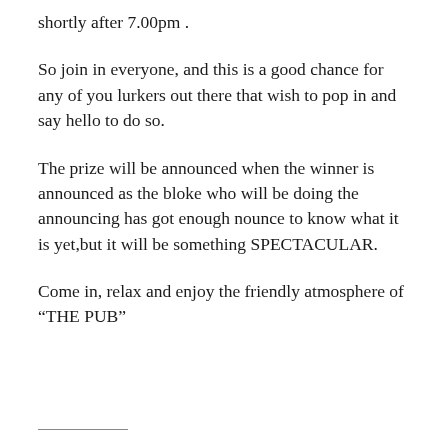shortly after 7.00pm .
So join in everyone, and this is a good chance for any of you lurkers out there that wish to pop in and say hello to do so.
The prize will be announced when the winner is announced as the bloke who will be doing the announcing has got enough nounce to know what it is yet,but it will be something SPECTACULAR.
Come in, relax and enjoy the friendly atmosphere of “THE PUB”